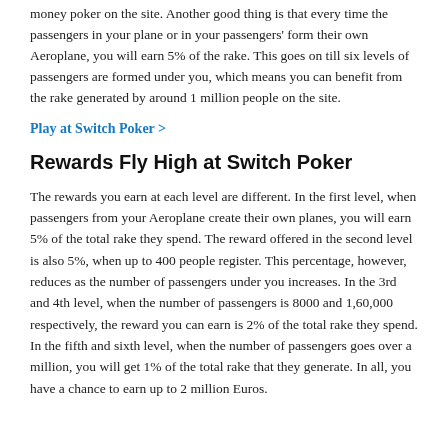money poker on the site. Another good thing is that every time the passengers in your plane or in your passengers' form their own Aeroplane, you will earn 5% of the rake. This goes on till six levels of passengers are formed under you, which means you can benefit from the rake generated by around 1 million people on the site.
Play at Switch Poker >
Rewards Fly High at Switch Poker
The rewards you earn at each level are different. In the first level, when passengers from your Aeroplane create their own planes, you will earn 5% of the total rake they spend. The reward offered in the second level is also 5%, when up to 400 people register. This percentage, however, reduces as the number of passengers under you increases. In the 3rd and 4th level, when the number of passengers is 8000 and 1,60,000 respectively, the reward you can earn is 2% of the total rake they spend. In the fifth and sixth level, when the number of passengers goes over a million, you will get 1% of the total rake that they generate. In all, you have a chance to earn up to 2 million Euros.